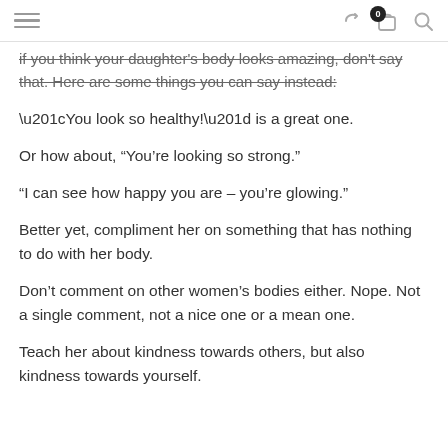[hamburger menu] [share] [0 cart] [search]
if you think your daughter's body looks amazing, don't say that. Here are some things you can say instead:
“You look so healthy!” is a great one.
Or how about, “You’re looking so strong.”
“I can see how happy you are – you’re glowing.”
Better yet, compliment her on something that has nothing to do with her body.
Don’t comment on other women’s bodies either. Nope. Not a single comment, not a nice one or a mean one.
Teach her about kindness towards others, but also kindness towards yourself.